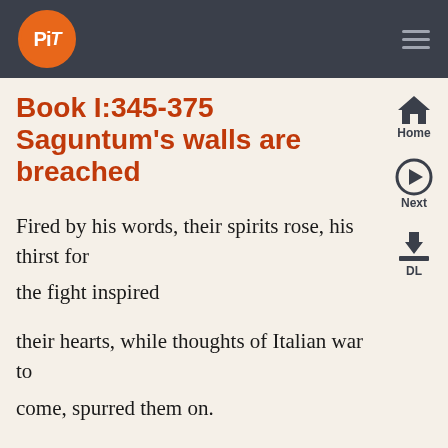PiT [logo]
Book I:345-375 Saguntum's walls are breached
Fired by his words, their spirits rose, his thirst for the fight inspired
their hearts, while thoughts of Italian war to come, spurred them on.
They attacked the defences with bare hands and, thrust down from
the walls, left severed limbs behind. A high mound was piled there,